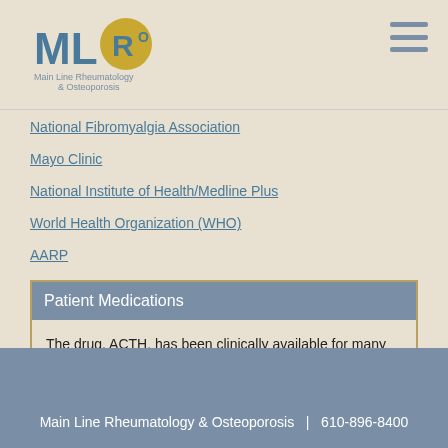Main Line Rheumatology & Osteoporosis
National Fibromyalgia Association
Mayo Clinic
National Institute of Health/Medline Plus
World Health Organization (WHO)
AARP
Patient Medications
The drug, ACTH, has been clinically available for many years as ACTHar gel and works well for rheumatoid arthritis, lupus,… Read more…
Main Line Rheumatology & Osteoporosis  |  610-896-8400